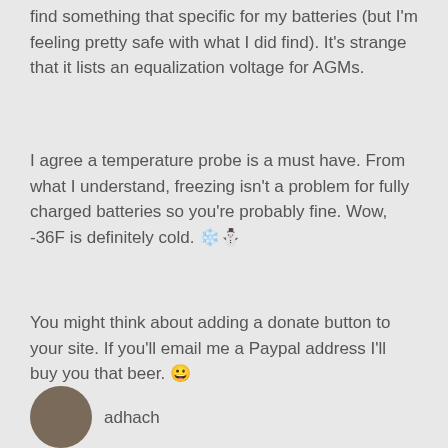find something that specific for my batteries (but I'm feeling pretty safe with what I did find). It's strange that it lists an equalization voltage for AGMs.
I agree a temperature probe is a must have. From what I understand, freezing isn't a problem for fully charged batteries so you're probably fine. Wow, -36F is definitely cold. ❄️⛄
You might think about adding a donate button to your site. If you'll email me a Paypal address I'll buy you that beer. 😀
★ Like
[Figure (photo): Circular avatar photo of a person]
adhach